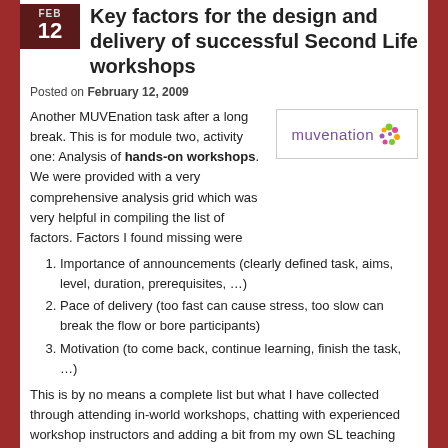Key factors for the design and delivery of successful Second Life workshops
Posted on February 12, 2009
Another MUVEnation task after a long break. This is for module two, activity one: Analysis of hands-on workshops. We were provided with a very comprehensive analysis grid which was very helpful in compiling the list of factors. Factors I found missing were
[Figure (logo): MUVEnation logo with purple text and colorful dot cluster]
Importance of announcements (clearly defined task, aims, level, duration, prerequisites, …)
Pace of delivery (too fast can cause stress, too slow can break the flow or bore participants)
Motivation (to come back, continue learning, finish the task, …)
This is by no means a complete list but what I have collected through attending in-world workshops, chatting with experienced workshop instructors and adding a bit from my own SL teaching